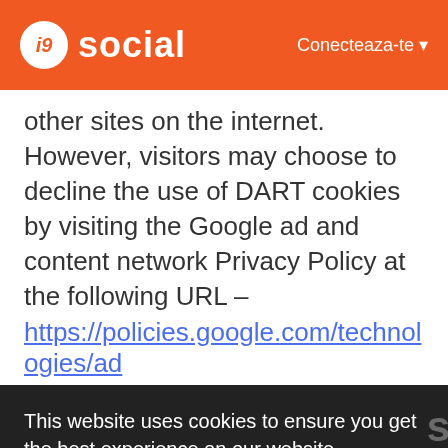i9 social   Conecteaza-te
other sites on the internet. However, visitors may choose to decline the use of DART cookies by visiting the Google ad and content network Privacy Policy at the following URL –
https://policies.google.com/technologies/ad
This website uses cookies to ensure you get the best experience on our website
Learn More
Got It!
other sites on the internet. However, visitors may choose...